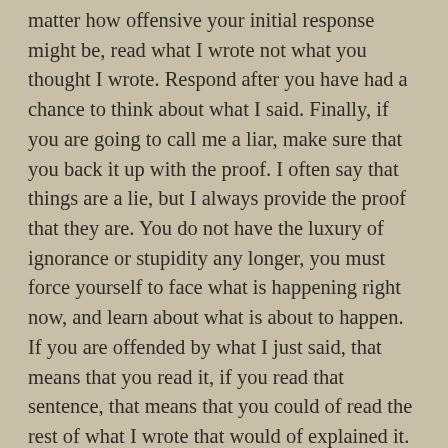matter how offensive your initial response might be, read what I wrote not what you thought I wrote. Respond after you have had a chance to think about what I said. Finally, if you are going to call me a liar, make sure that you back it up with the proof. I often say that things are a lie, but I always provide the proof that they are. You do not have the luxury of ignorance or stupidity any longer, you must force yourself to face what is happening right now, and learn about what is about to happen. If you are offended by what I just said, that means that you read it, if you read that sentence, that means that you could of read the rest of what I wrote that would of explained it. I explain every point I make in such detail that it cannot be challenged, that is why it is lengthy, and it explains the point once and for all, so that we can move on to the next point. You have no reason to get angry with me, get angry at those who mislead you.